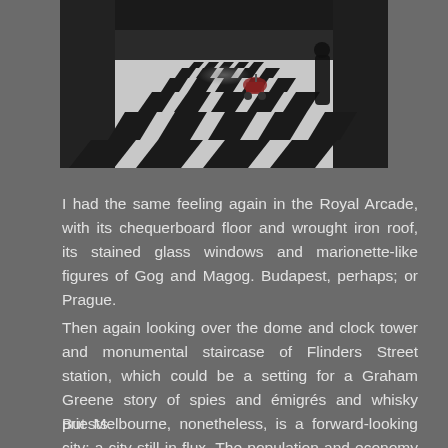[Figure (photo): Interior of the Royal Arcade showing a chequerboard black and white tile floor in perspective, with people walking and a pram/stroller visible, dark arcade interior on both sides]
I had the same feeling again in the Royal Arcade, with its chequerboard floor and wrought iron roof, its stained glass windows and marionette-like figures of Gog and Magog. Budapest, perhaps; or Prague.
Then again looking over the dome and clock tower and monumental staircase of Flinders Street station, which could be a setting for a Graham Greene story of spies and émigrés and whisky priests.
But Melbourne, nonetheless, is a forward-looking city; a city still in flux. The population and economy are